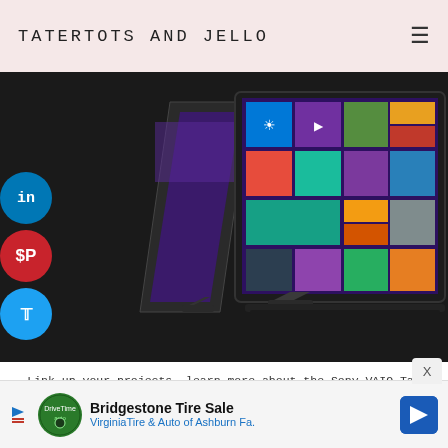TATERTOTS AND JELLO
[Figure (photo): Two Sony VAIO Tap 20 tablet/all-in-one devices shown from the side with kickstands extended, displaying Windows 8 Start screen with colorful tiles. Social share buttons (LinkedIn, Pinterest, Twitter) visible on left side.]
Link up your projects, learn more about the Sony VAIO Tap 20, and enter to win after the break:
The Organizer features aren't the only thing my family's loving!
[Figure (infographic): Advertisement banner: Bridgestone Tire Sale - VirginiaTire & Auto of Ashburn Fa. with logo and navigation arrow icon]